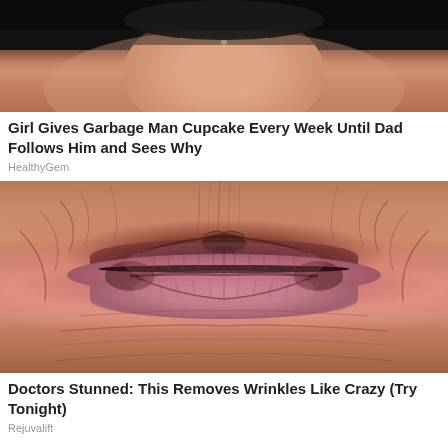[Figure (photo): Photo of a person's face, partially showing hair and face with a chain/necklace visible]
Girl Gives Garbage Man Cupcake Every Week Until Dad Follows Him and Sees Why
HealthyGem
[Figure (photo): Extreme close-up photo of an elderly person's mouth/lips area showing deep wrinkles around the lips]
Doctors Stunned: This Removes Wrinkles Like Crazy (Try Tonight)
Rejuvalift